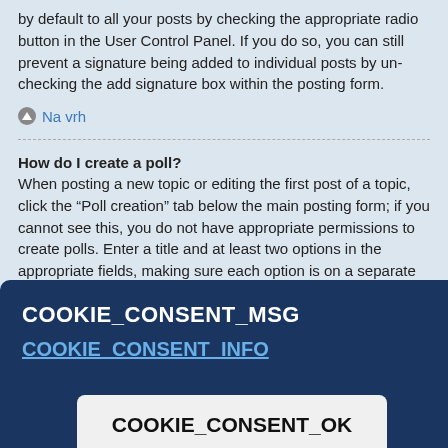by default to all your posts by checking the appropriate radio button in the User Control Panel. If you do so, you can still prevent a signature being added to individual posts by un-checking the add signature box within the posting form.
Na vrh
How do I create a poll?
When posting a new topic or editing the first post of a topic, click the “Poll creation” tab below the main posting form; if you cannot see this, you do not have appropriate permissions to create polls. Enter a title and at least two options in the appropriate fields, making sure each option is on a separate line in the textarea. You can also set the number of options users may select during voting under “Options per user”, a time limit in days for the poll (0 for infinite duration) and lastly the option to allow users to amend their votes.
COOKIE_CONSENT_MSG
COOKIE_CONSENT_INFO
COOKIE_CONSENT_OK
feel you contact
Na vrh